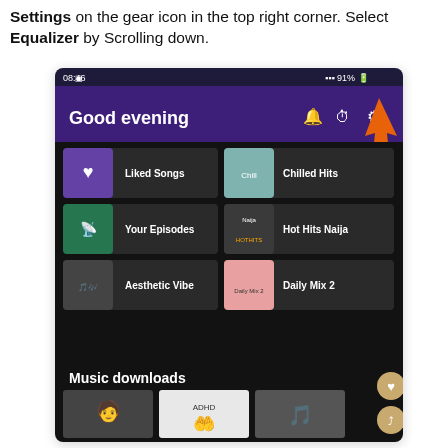Settings on the gear icon in the top right corner. Select Equalizer by Scrolling down.
[Figure (screenshot): Spotify mobile app screenshot showing Good evening home screen with Liked Songs, Chilled Hits, Your Episodes, Hot Hits Naija, Aesthetic Vibe, Daily Mix 2, and Music downloads section. An orange arrow points to the settings gear icon in the top right corner.]